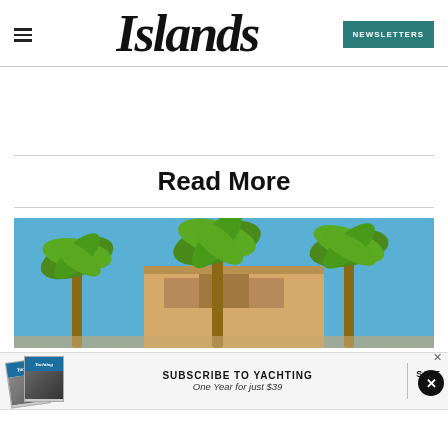Islands
Read More
[Figure (photo): Palm trees in front of a building with a clear blue sky background]
[Figure (infographic): Advertisement banner: Subscribe to Yachting - One Year for just $39, Save 67%]